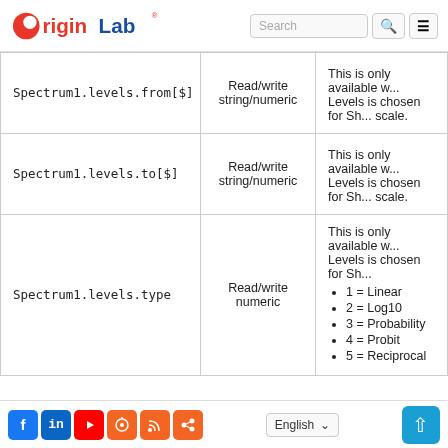OriginLab - Search - Menu
| Property | Access | Description |
| --- | --- | --- |
| Spectrum1.levels.from[$] | Read/write string/numeric | This is only available w... Levels is chosen for Sh... scale. |
| Spectrum1.levels.to[$] | Read/write string/numeric | This is only available w... Levels is chosen for Sh... scale. |
| Spectrum1.levels.type | Read/write numeric | This is only available w... Levels is chosen for Sh... 1 = Linear, 2 = Log10, 3 = Probability, 4 = Probit, 5 = Reciprocal |
Social icons | English | Up button